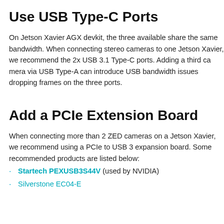Use USB Type-C Ports
On Jetson Xavier AGX devkit, the three available share the same bandwidth. When connecting stereo cameras to one Jetson Xavier, we recommend the 2x USB 3.1 Type-C ports. Adding a third camera via USB Type-A can introduce USB bandwidth issues dropping frames on the three ports.
Add a PCIe Extension Board
When connecting more than 2 ZED cameras on a Jetson Xavier, we recommend using a PCIe to USB 3 expansion board. Some recommended products are listed below:
Startech PEXUSB3S44V (used by NVIDIA)
Silverstone EC04-E